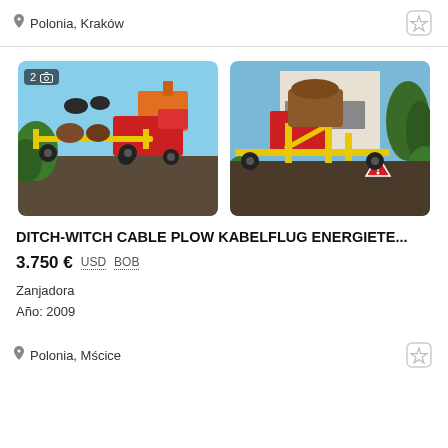Polonia, Kraków
[Figure (photo): Two photos of a yellow Ditch-Witch cable plow / trencher machine outdoors. Left photo shows the machine in front of a red truck with vegetation in the background. Right photo shows a different angle of the same machine near a building.]
DITCH-WITCH CABLE PLOW KABELFLUG ENERGIETE...
3.750 € USD BOB
Zanjadora
Año: 2009
Polonia, Mścice